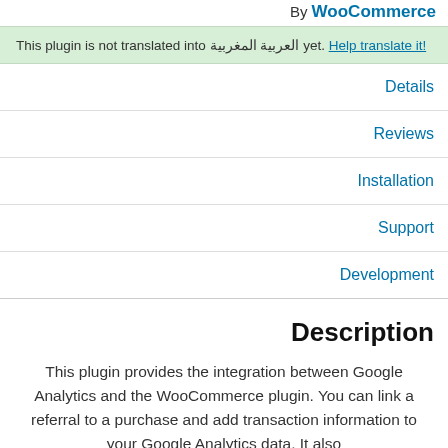By WooCommerce
This plugin is not translated into العربية المغربية yet. Help translate it!
Details
Reviews
Installation
Support
Development
Description
This plugin provides the integration between Google Analytics and the WooCommerce plugin. You can link a referral to a purchase and add transaction information to your Google Analytics data. It also